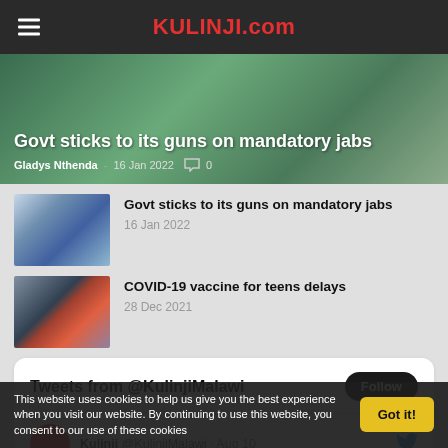KULINJI.com
Govt sticks to its guns on mandatory jabs
Gladys Nthenda - 16 Jan 2022  0
[Figure (photo): Thumbnail image of vaccine administration scene 1 - Govt sticks to its guns on mandatory jabs, 16 Jan 2022]
Govt sticks to its guns on mandatory jabs
16 Jan 2022
[Figure (photo): Thumbnail image of vaccine administration scene 2 - COVID-19 vaccine for teens delays, 28 Dec 2021]
COVID-19 vaccine for teens delays
28 Dec 2021
Tweets from @KulinjiMalawi  Follow
Kulinji @KulinjiMalawi · Aug 10
This website uses cookies to help us give you the best experience when you visit our website. By continuing to use this website, you consent to our use of these cookies  Got it!